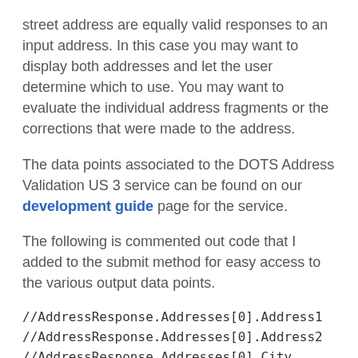street address are equally valid responses to an input address. In this case you may want to display both addresses and let the user determine which to use. You may want to evaluate the individual address fragments or the corrections that were made to the address.
The data points associated to the DOTS Address Validation US 3 service can be found on our development guide page for the service.
The following is commented out code that I added to the submit method for easy access to the various output data points.
//AddressResponse.Addresses[0].Address1
//AddressResponse.Addresses[0].Address2
//AddressResponse.Addresses[0].City
//AddressResponse.Addresses[0].State
//AddressResponse.Addresses[0].Zip